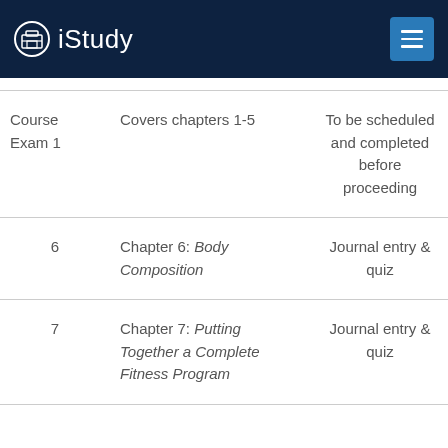iStudy
| Week | Chapter/Topic | Activity | Due |
| --- | --- | --- | --- |
| Course Exam 1 | Covers chapters 1-5 | To be scheduled and completed before proceeding | Week |
| 6 | Chapter 6: Body Composition | Journal entry & quiz | Week |
| 7 | Chapter 7: Putting Together a Complete Fitness Program | Journal entry & quiz | Week |